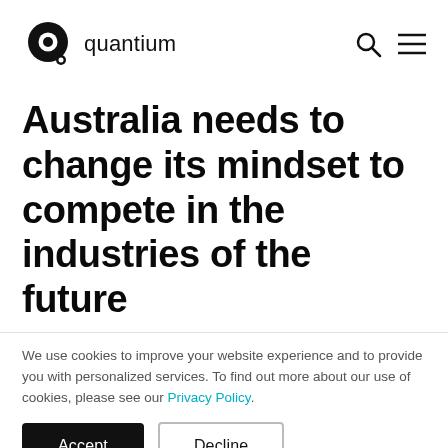quantium
Australia needs to change its mindset to compete in the industries of the future
We use cookies to improve your website experience and to provide you with personalized services. To find out more about our use of cookies, please see our Privacy Policy.
Accept | Decline